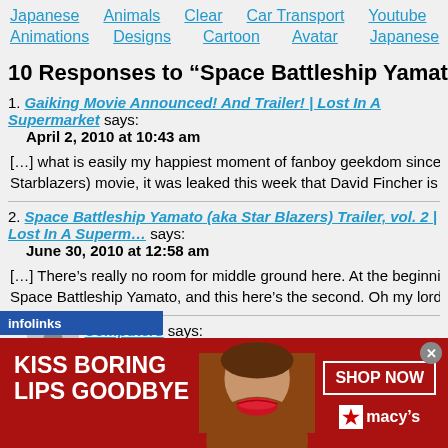Japanese   Animals   Clear   Car Transport   Youtube
Animations   Designs   Cartoon   Avatar   Japanese
10 Responses to “Space Battleship Yamato Tr…”
1. Gaiking Movie Announced! And Trailer! | Lost In A Supermarket says:
April 2, 2010 at 10:43 am
[...] what is easily my happiest moment of fanboy geekdom since discovering that Starblazers) movie, it was leaked this week that David Fincher is in the works to m…
2. Space Battleship Yamato (aka Star Blazers) Trailer, vol. 2 | Lost In A Superm… says:
June 30, 2010 at 12:58 am
[...] There’s really no room for middle ground here. At the beginning of the year w… Space Battleship Yamato, and this here’s the second. Oh my lord I cannot wait —
3. Computers says:
October 18, 2010 at 6:33 pm
[Figure (other): infolinks advertisement bar]
[Figure (other): Macy's advertisement banner: KISS BORING LIPS GOODBYE with woman's face and SHOP NOW macy's button]